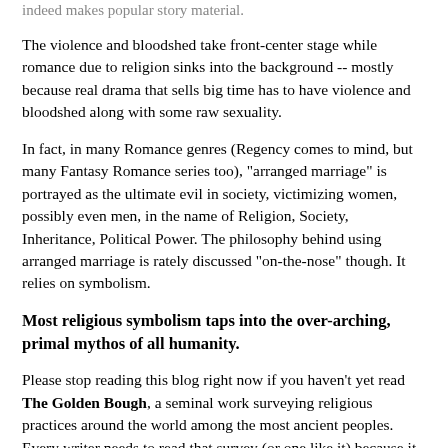indeed makes popular story material.
The violence and bloodshed take front-center stage while romance due to religion sinks into the background -- mostly because real drama that sells big time has to have violence and bloodshed along with some raw sexuality.
In fact, in many Romance genres (Regency comes to mind, but many Fantasy Romance series too), "arranged marriage" is portrayed as the ultimate evil in society, victimizing women, possibly even men, in the name of Religion, Society, Inheritance, Political Power. The philosophy behind using arranged marriage is rately discussed "on-the-nose" though. It relies on symbolism.
Most religious symbolism taps into the over-arching, primal mythos of all humanity.
Please stop reading this blog right now if you haven't yet read The Golden Bough, a seminal work surveying religious practices around the world among the most ancient peoples. Every writer needs to read that survey (or one like it) because it is a vast "show don't tell" on the nature of all the